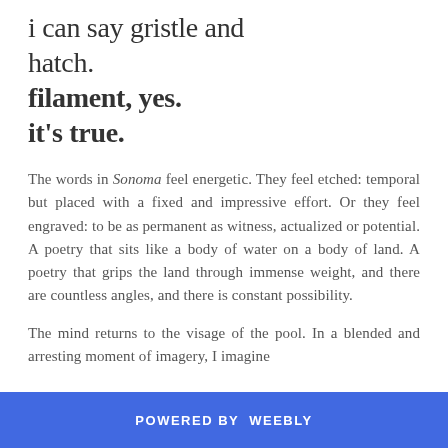i can say gristle and hatch.
filament, yes.
it's true.
The words in Sonoma feel energetic. They feel etched: temporal but placed with a fixed and impressive effort. Or they feel engraved: to be as permanent as witness, actualized or potential. A poetry that sits like a body of water on a body of land. A poetry that grips the land through immense weight, and there are countless angles, and there is constant possibility.
The mind returns to the visage of the pool. In a blended and arresting moment of imagery, I imagine
POWERED BY weebly